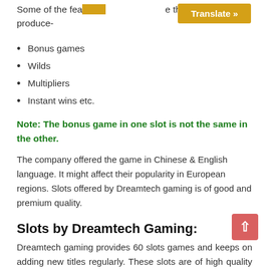Some of the fea... e that they produce-
[Figure (other): Yellow 'Translate »' button overlay]
Bonus games
Wilds
Multipliers
Instant wins etc.
Note: The bonus game in one slot is not the same in the other.
The company offered the game in Chinese & English language. It might affect their popularity in European regions. Slots offered by Dreamtech gaming is of good and premium quality.
Slots by Dreamtech Gaming:
Dreamtech gaming provides 60 slots games and keeps on adding new titles regularly. These slots are of high quality and have a wide range of